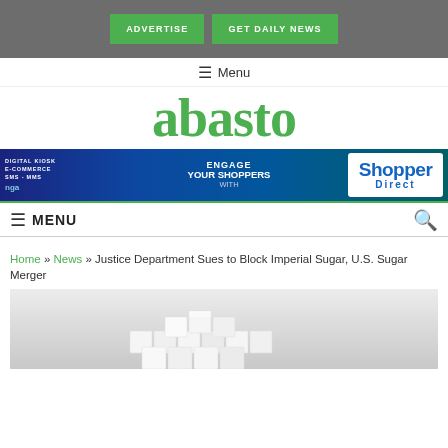ADVERTISE | GET DAILY NEWS
≡ Menu
[Figure (logo): abasto logo in green serif font]
[Figure (infographic): Advertisement banner: DIGITAL KIOSK | E-COMMERCE | SMS-MMS | nga | ENGAGE your SHOPPERS WITH | Shopper Direct]
≡ MENU
Home » News » Justice Department Sues to Block Imperial Sugar, U.S. Sugar Merger
[Figure (photo): White sugar cubes stacked against a white background]